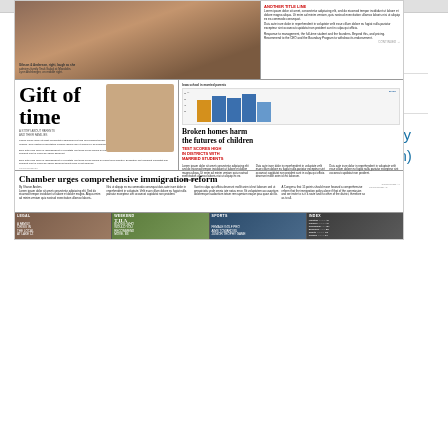[Figure (screenshot): Newspaper front page mockup showing stories: 'Gift of time', 'Broken homes harm the futures of children', 'Chamber urges comprehensive immigration reform', with photo sections, bar chart, and a bottom strip with Legal, Weekend, Sports, and Index sections.]
| Field | Value |
| --- | --- |
| TYPE | Weekly print newspaper with daily online editions |
| FORMAT | Broadsheet 31 |
| OWNER(S) | Deseret News Publishing Company (Deseret Management Corporation) |